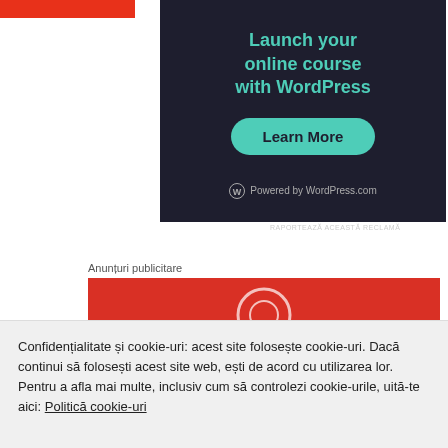[Figure (illustration): Red horizontal bar strip on upper left of page]
[Figure (screenshot): Dark advertisement banner: 'Launch your online course with WordPress' with a teal 'Learn More' button and 'Powered by WordPress.com' footer]
RAPORTEAZĂ ACEASTĂ RECLAMĂ
Anunțuri publicitare
[Figure (screenshot): Red banner with partial circular logo visible]
Confidențialitate și cookie-uri: acest site folosește cookie-uri. Dacă continui să folosești acest site web, ești de acord cu utilizarea lor. Pentru a afla mai multe, inclusiv cum să controlezi cookie-urile, uită-te aici: Politică cookie-uri
Închide și acceptă
listeners for